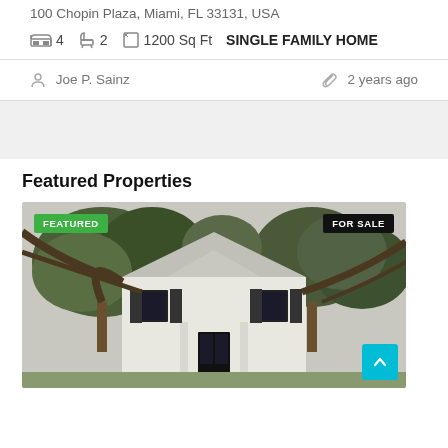100 Chopin Plaza, Miami, FL 33131, USA
4  2  1200 Sq Ft  SINGLE FAMILY HOME
Joe P. Sainz
2 years ago
Featured Properties
[Figure (photo): Exterior photo of a white colonial-style single family home with large oak trees in the foreground, black shutters, and a columned entryway. Badges: FEATURED (green, top-left), FOR SALE (black, top-right).]